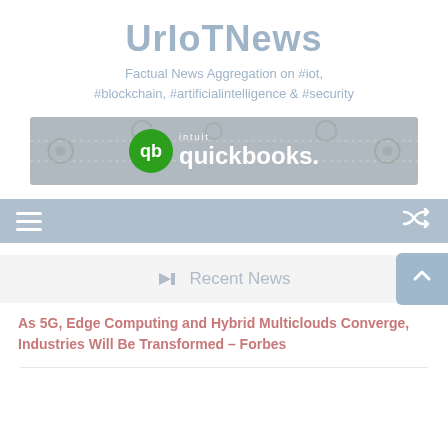UrIoTNews
Factual News Aggregation on #iot, #blockchain, #artificialintelligence & #security
[Figure (logo): Intuit QuickBooks advertisement banner with logo on grey background]
[Figure (infographic): Navigation bar with hamburger menu icon on left and shuffle icon on right, blue-grey background]
Recent News
As 5G, Edge Computing and Hybrid Multiclouds Converge, Industries Will Be Transformed – Forbes